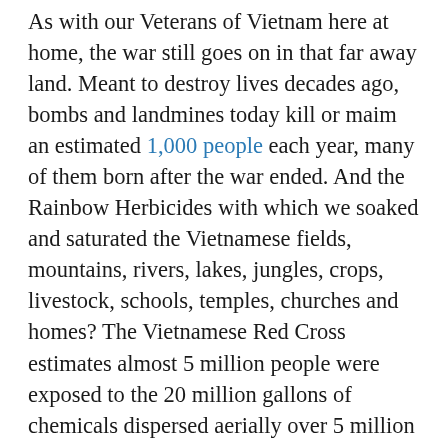As with our Veterans of Vietnam here at home, the war still goes on in that far away land. Meant to destroy lives decades ago, bombs and landmines today kill or maim an estimated 1,000 people each year, many of them born after the war ended. And the Rainbow Herbicides with which we soaked and saturated the Vietnamese fields, mountains, rivers, lakes, jungles, crops, livestock, schools, temples, churches and homes? The Vietnamese Red Cross estimates almost 5 million people were exposed to the 20 million gallons of chemicals dispersed aerially over 5 million acres, it was, after all, the largest chemical weapons program in history. Estimates are 1 million people are currently living their lives disabled in South East Asia because of the chemicals sprayed over four